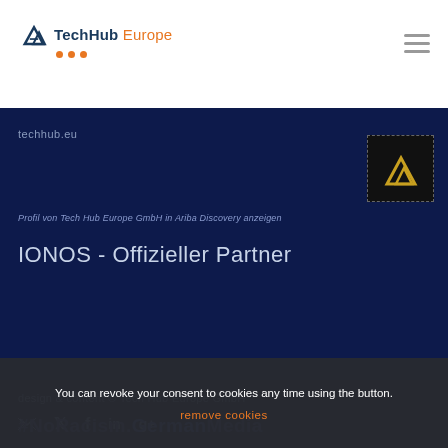[Figure (logo): TechHub Europe logo with mountain/chevron icon and three orange dots]
techhub.eu
[Figure (logo): Ariba Discovery logo - black square with gold/yellow chevron mark]
Profil von Tech Hub Europe GmbH in Ariba Discovery anzeigen
IONOS - Offizieller Partner
design & content © Tech Hub Europe GmbH
#NoRacism.GermanMedia
You can revoke your consent to cookies any time using the button.
remove cookies